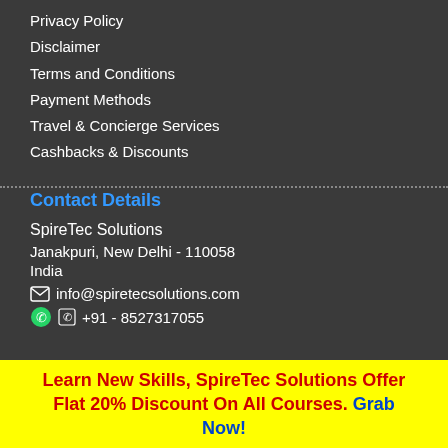Privacy Policy
Disclaimer
Terms and Conditions
Payment Methods
Travel & Concierge Services
Cashbacks & Discounts
Contact Details
SpireTec Solutions
Janakpuri, New Delhi - 110058
India
info@spiretecsolutions.com
+91 - 8527317055
Learn New Skills, SpireTec Solutions Offer Flat 20% Discount On All Courses. Grab Now!